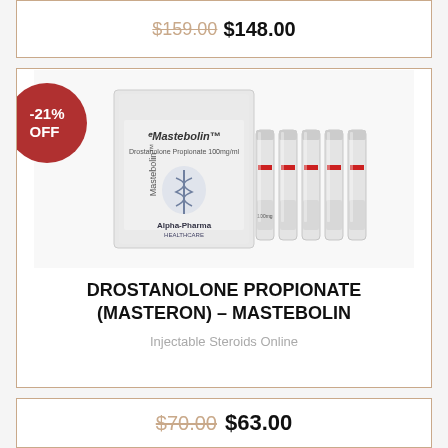Injectable Steroids Online
$159.00 $148.00
[Figure (photo): Product photo of Mastebolin (Drostanolone Propionate) by Alpha-Pharma: a white box and five small glass ampoules with red caps]
DROSTANOLONE PROPIONATE (MASTERON) – MASTEBOLIN
Injectable Steroids Online
$70.00 $63.00